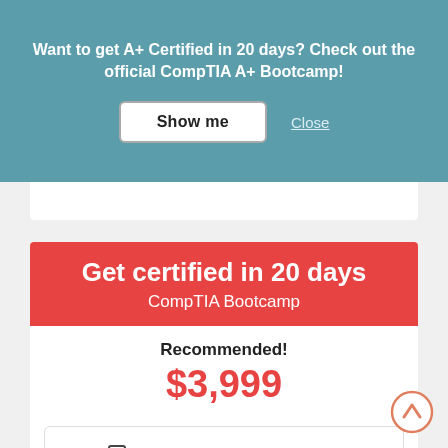Want to get A+ Certified in 20 days? Check out the official CompTIA A+ Bootcamp!
Show me
Close
Get certified in 20 days
CompTIA Bootcamp
Recommended!
$3,999
Instructor Led-Training